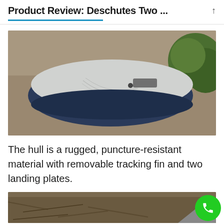Product Review: Deschutes Two ...
[Figure (photo): An inflatable SUP board or small inflatable boat with light grey top and dark navy blue sides, sitting on gravelly/sandy ground with green shrubs in background]
The hull is a rugged, puncture-resistant material with removable tracking fin and two landing plates.
[Figure (photo): Partial view of what appears to be a fin or board component on a natural ground background, partially visible at bottom of page. A green phone/call button is overlaid in the bottom right corner.]